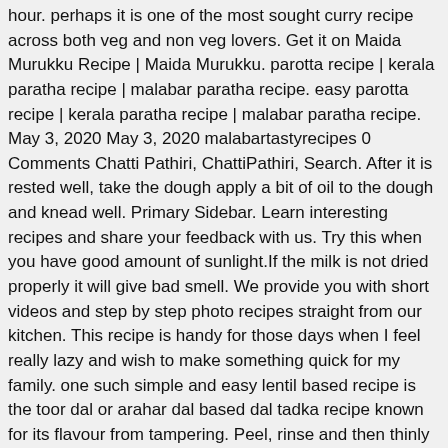hour. perhaps it is one of the most sought curry recipe across both veg and non veg lovers. Get it on Maida Murukku Recipe | Maida Murukku. parotta recipe | kerala paratha recipe | malabar paratha recipe. easy parotta recipe | kerala paratha recipe | malabar paratha recipe. May 3, 2020 May 3, 2020 malabartastyrecipes 0 Comments Chatti Pathiri, ChattiPathiri, Search. After it is rested well, take the dough apply a bit of oil to the dough and knead well. Primary Sidebar. Learn interesting recipes and share your feedback with us. Try this when you have good amount of sunlight.If the milk is not dried properly it will give bad smell. We provide you with short videos and step by step photo recipes straight from our kitchen. This recipe is handy for those days when I feel really lazy and wish to make something quick for my family. one such simple and easy lentil based recipe is the toor dal or arahar dal based dal tadka recipe known for its flavour from tampering. Peel, rinse and then thinly slice 1 large onion. particularly, paneer recipes and paneer curries get a lot of attention especially from the vegetarian crowd. This is one such easy dish which your kid will surely love. parotta